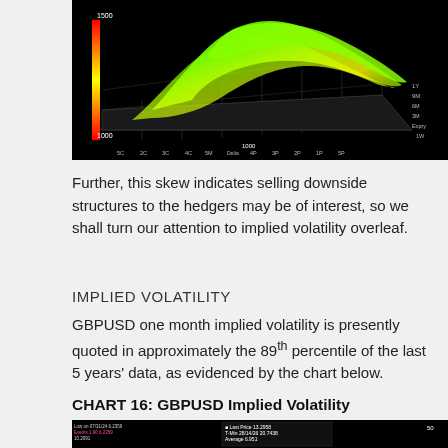[Figure (continuous-plot): 3D volatility surface chart with green/yellow surface on black background, showing axes labeled with strikes (5C, 2C, 3C, 4C, 5M, 4P, 3P, 2P, 1P, 5P) and expiries (1W, 3M, 6M, 9M, 1Y), with values 150, 1000, 1000 on axes.]
Further, this skew indicates selling downside structures to the hedgers may be of interest, so we shall turn our attention to implied volatility overleaf.
IMPLIED VOLATILITY
GBPUSD one month implied volatility is presently quoted in approximately the 89th percentile of the last 5 years’ data, as evidenced by the chart below.
CHART 16:  GBPUSD Implied Volatility
[Figure (continuous-plot): GBPUSD Implied Volatility chart screenshot on black background, showing price data with legend displaying Last Price 13.2958, T-Min 28/14/26 20.7438, Average 6.951, Low on 07/31/24 6.2359, Events 1.90, 10.2091]